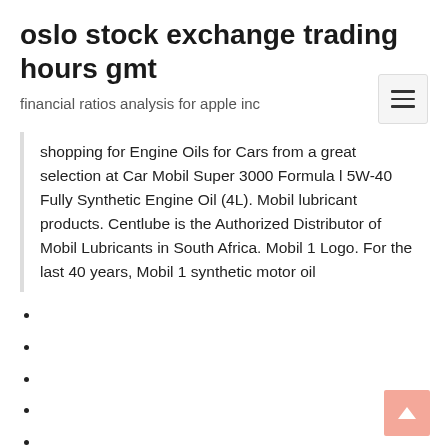oslo stock exchange trading hours gmt
financial ratios analysis for apple inc
shopping for Engine Oils for Cars from a great selection at Car Mobil Super 3000 Formula l 5W-40 Fully Synthetic Engine Oil (4L). Mobil lubricant products. Centlube is the Authorized Distributor of Mobil Lubricants in South Africa. Mobil 1 Logo. For the last 40 years, Mobil 1 synthetic motor oil